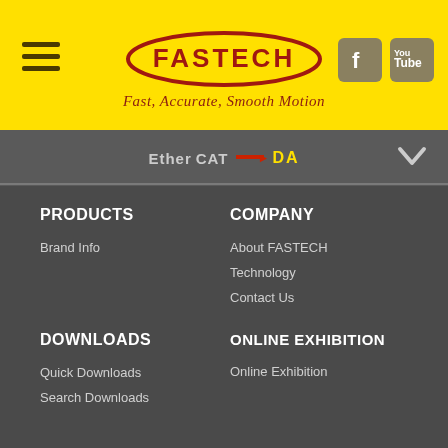[Figure (logo): FASTECH logo - oval red border with FASTECH text in red on yellow background, tagline: Fast, Accurate, Smooth Motion]
EtherCAT DA
PRODUCTS
Brand Info
COMPANY
About FASTECH
Technology
Contact Us
DOWNLOADS
Quick Downloads
Search Downloads
ONLINE EXHIBITION
Online Exhibition